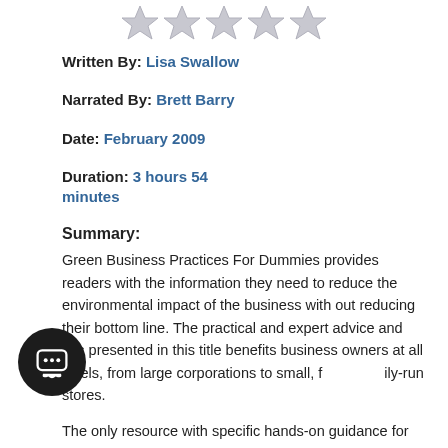[Figure (illustration): Five empty/grey star rating icons displayed in a row at the top of the page]
Written By: Lisa Swallow
Narrated By: Brett Barry
Date: February 2009
Duration: 3 hours 54 minutes
Summary:
Green Business Practices For Dummies provides readers with the information they need to reduce the environmental impact of the business with out reducing their bottom line. The practical and expert advice and tips presented in this title benefits business owners at all levels, from large corporations to small, family-run stores.
The only resource with specific hands-on guidance for